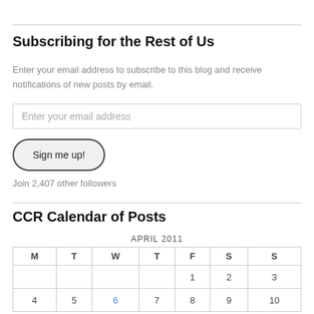Subscribing for the Rest of Us
Enter your email address to subscribe to this blog and receive notifications of new posts by email.
Enter your email address
Sign me up!
Join 2,407 other followers
CCR Calendar of Posts
| M | T | W | T | F | S | S |
| --- | --- | --- | --- | --- | --- | --- |
|  |  |  |  | 1 | 2 | 3 |
| 4 | 5 | 6 | 7 | 8 | 9 | 10 |